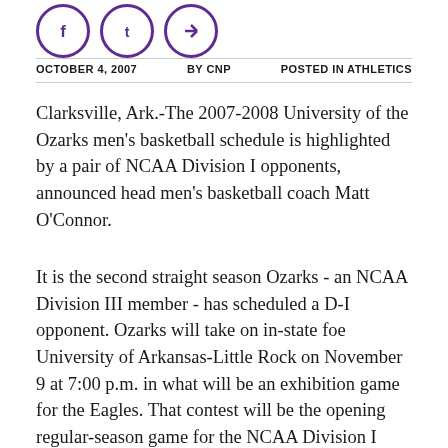[Figure (other): Three circular social media icon buttons with purple outlines]
OCTOBER 4, 2007   BY CNP   POSTED IN ATHLETICS
Clarksville, Ark.-The 2007-2008 University of the Ozarks men's basketball schedule is highlighted by a pair of NCAA Division I opponents, announced head men's basketball coach Matt O'Connor.
It is the second straight season Ozarks - an NCAA Division III member - has scheduled a D-I opponent. Ozarks will take on in-state foe University of Arkansas-Little Rock on November 9 at 7:00 p.m. in what will be an exhibition game for the Eagles. That contest will be the opening regular-season game for the NCAA Division I Trojans and will be played at the Jack Stephens Center in Little Rock. UA-Renown as a hour of the Sun Belt Conference, finished 12...